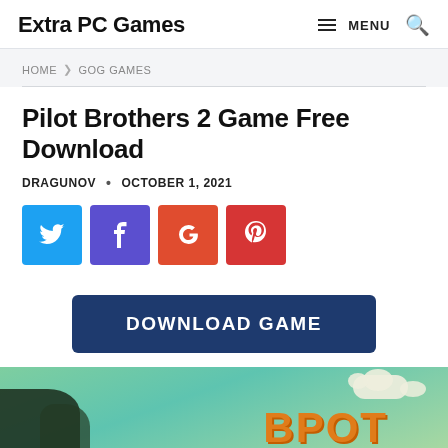Extra PC Games | MENU [search icon]
HOME > GOG GAMES
Pilot Brothers 2 Game Free Download
DRAGUNOV · OCTOBER 1, 2021
[Figure (other): Social share buttons: Twitter (blue), Facebook (purple), Google+ (orange-red), Pinterest (red)]
[Figure (other): Dark blue DOWNLOAD GAME button]
[Figure (screenshot): Partial game screenshot showing colorful cartoon illustration with green sky background, clouds, and orange game title text at bottom]